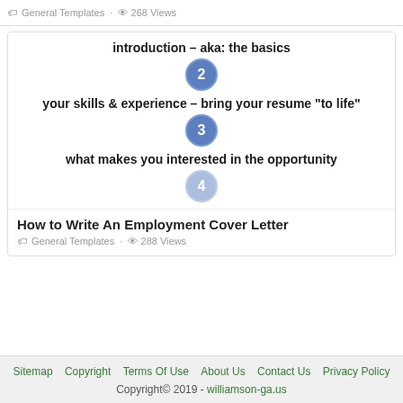General Templates · 268 Views
[Figure (infographic): Infographic showing steps for writing an employment cover letter: introduction - aka: the basics, step 2, your skills & experience - bring your resume "to life", step 3, what makes you interested in the opportunity, step 4 (partially visible)]
How to Write An Employment Cover Letter
General Templates · 288 Views
Sitemap  Copyright  Terms Of Use  About Us  Contact Us  Privacy Policy
Copyright© 2019 - williamson-ga.us